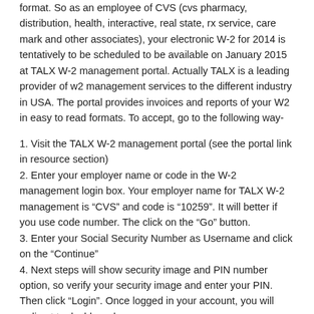format. So as an employee of CVS (cvs pharmacy, distribution, health, interactive, real state, rx service, care mark and other associates), your electronic W-2 for 2014 is tentatively to be scheduled to be available on January 2015 at TALX W-2 management portal. Actually TALX is a leading provider of w2 management services to the different industry in USA. The portal provides invoices and reports of your W2 in easy to read formats. To accept, go to the following way-
1. Visit the TALX W-2 management portal (see the portal link in resource section)
2. Enter your employer name or code in the W-2 management login box. Your employer name for TALX W-2 management is “CVS” and code is “10259”. It will better if you use code number. The click on the “Go” button.
3. Enter your Social Security Number as Username and click on the “Continue”
4. Next steps will show security image and PIN number option, so verify your security image and enter your PIN. Then click “Login”. Once logged in your account, you will redirect to dashboard.
5. To print your W-2, click on the “Get Your W-2 Now” link, then “View & Print Your W-2 Now” and finally print your W-2.
CVS W-2 express employer name: CVS
CVS W-2 express employer code: 10259